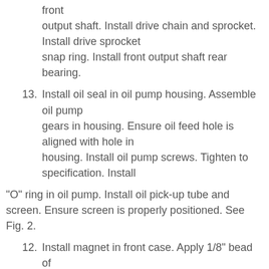front output shaft. Install drive chain and sprocket. Install drive sprocket snap ring. Install front output shaft rear bearing.
13. Install oil seal in oil pump housing. Assemble oil pump gears in housing. Ensure oil feed hole is aligned with hole in housing. Install oil pump screws. Tighten to specification. Install
"O" ring in oil pump. Install oil pick-up tube and screen. Ensure screen is properly positioned. See Fig. 2.
12. Install magnet in front case. Apply 1/8" bead of silicone